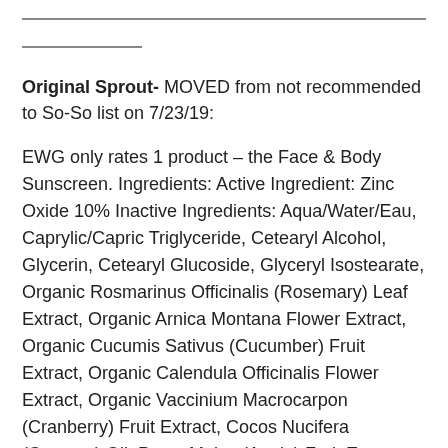Original Sprout- MOVED from not recommended to So-So list on 7/23/19:
EWG only rates 1 product – the Face & Body Sunscreen. Ingredients: Active Ingredient: Zinc Oxide 10% Inactive Ingredients: Aqua/Water/Eau, Caprylic/Capric Triglyceride, Cetearyl Alcohol, Glycerin, Cetearyl Glucoside, Glyceryl Isostearate, Organic Rosmarinus Officinalis (Rosemary) Leaf Extract, Organic Arnica Montana Flower Extract, Organic Cucumis Sativus (Cucumber) Fruit Extract, Organic Calendula Officinalis Flower Extract, Organic Vaccinium Macrocarpon (Cranberry) Fruit Extract, Cocos Nucifera (Coconut) Oil, Pyrus Malus (Apple) Fruit Extract, Prunus Armeniaca (Apricot) Fruit Extract, Vanilla Planifolia